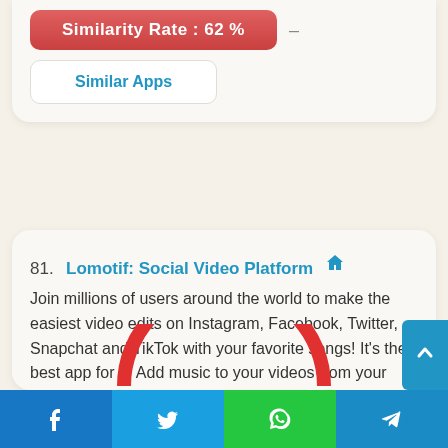Similarity Rate : 62 %
Similar Apps
81. Lomotif: Social Video Platform — Join millions of users around the world to make the easiest video edits on Instagram, Facebook, Twitter, Snapchat and TikTok with your favorite songs! It's the best app for 1. Add music to your videos from your favorite artists 2. Put together videos (or photos) into a music video
[Figure (other): Red semicircle arc at bottom of card]
Facebook | Twitter | WhatsApp | Telegram share buttons